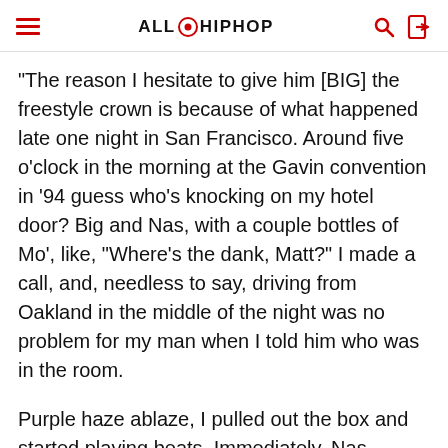ALLHIPHOP
"The reason I hesitate to give him [BIG] the freestyle crown is because of what happened late one night in San Francisco. Around five o'clock in the morning at the Gavin convention in '94 guess who's knocking on my hotel door? Big and Nas, with a couple bottles of Mo', like, "Where's the dank, Matt?" I made a call, and, needless to say, driving from Oakland in the middle of the night was no problem for my man when I told him who was in the room.
Purple haze ablaze, I pulled out the box and started playing beats. Immediately, Nas started flowing, nonstop till the sun was out. I mean, spittin perfect verses and choruses that sounded thought out for hours but could only be off the top due to the here-